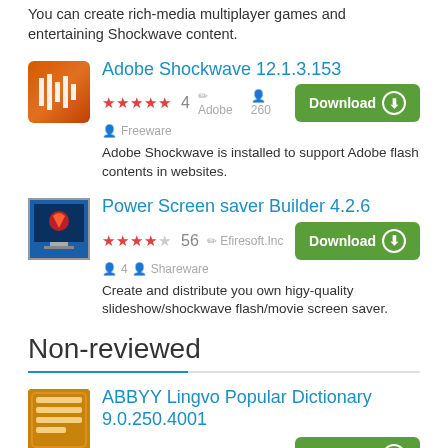You can create rich-media multiplayer games and entertaining Shockwave content.
Adobe Shockwave 12.1.3.153 — ★★★★★ 4 · Adobe · 260 · Freeware. Adobe Shockwave is installed to support Adobe flash contents in websites.
Power Screen saver Builder 4.2.6 — ★★★★☆ 56 · Efiresoft.Inc · 4 · Shareware. Create and distribute you own higy-quality slideshow/shockwave flash/movie screen saver.
Non-reviewed
ABBYY Lingvo Popular Dictionary 9.0.250.4001 — Download